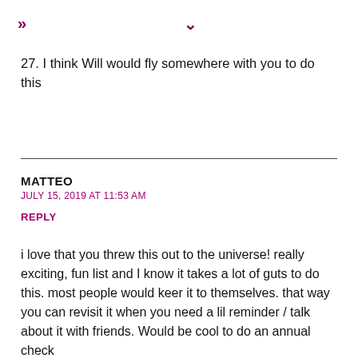» ✓
27. I think Will would fly somewhere with you to do this
MATTEO
JULY 15, 2019 AT 11:53 AM
REPLY
i love that you threw this out to the universe! really exciting, fun list and I know it takes a lot of guts to do this. most people would keer it to themselves. that way you can revisit it when you need a lil reminder / talk about it with friends. Would be cool to do an annual check